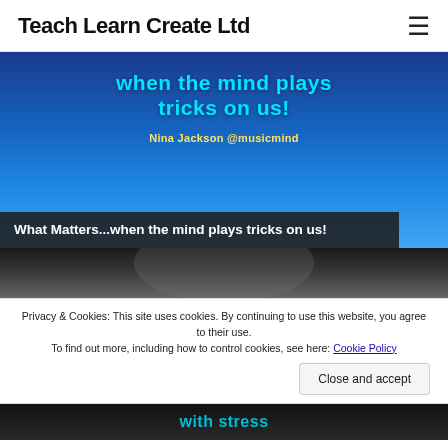Teach Learn Create Ltd
[Figure (photo): Blue-themed banner with text 'when the mind plays tricks on us!' and 'Nina Jackson @musicmind' in yellow, with dark overlay caption bar]
What Matters...when the mind plays tricks on us!
[Figure (photo): Dark greyscale image showing a person, partial view]
Privacy & Cookies: This site uses cookies. By continuing to use this website, you agree to their use.
To find out more, including how to control cookies, see here: Cookie Policy
Close and accept
[Figure (photo): Dark banner with text 'with stress' in cyan]